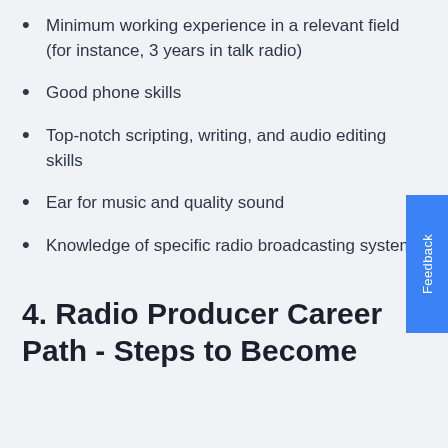Minimum working experience in a relevant field (for instance, 3 years in talk radio)
Good phone skills
Top-notch scripting, writing, and audio editing skills
Ear for music and quality sound
Knowledge of specific radio broadcasting systems
4. Radio Producer Career Path - Steps to Become